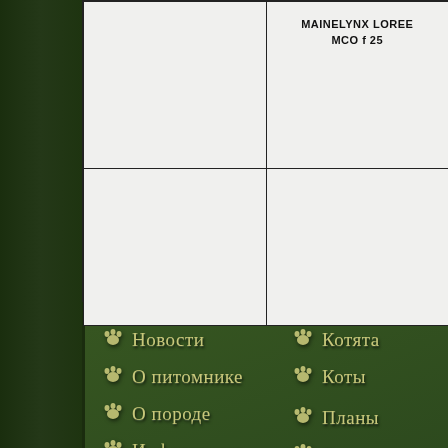[Figure (other): Partial table/grid with white background, two columns visible, top-right cell contains cat breed name 'MAINELYNX LOREE' and 'MCO f 25' in bold text]
Новости
О питомнике
О породе
Информация
Котята
Коты
Планы
Выпуски